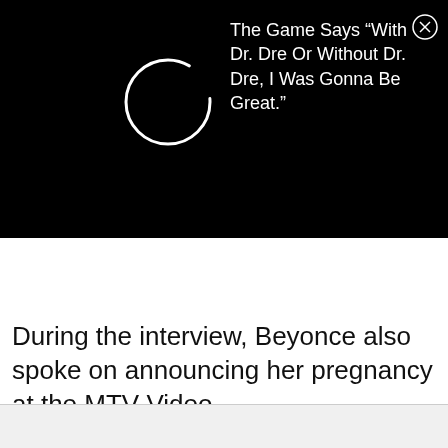[Figure (screenshot): Black banner with a circular loading spinner (white circle outline) on the left and white text on the right. A close (X) button is in the top-right corner.]
The Game Says “With Dr. Dre Or Without Dr. Dre, I Was Gonna Be Great.”
During the interview, Beyonce also spoke on announcing her pregnancy at the MTV Video